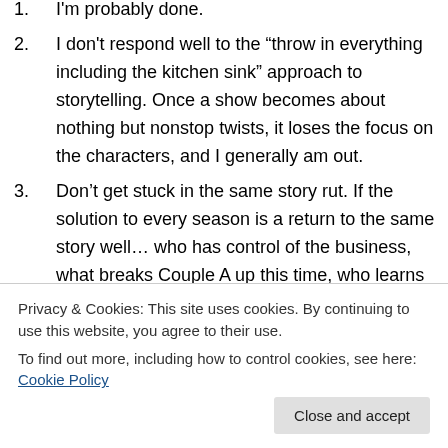I'm probably done.
I don't respond well to the “throw in everything including the kitchen sink” approach to storytelling. Once a show becomes about nothing but nonstop twists, it loses the focus on the characters, and I generally am out.
Don’t get stuck in the same story rut. If the solution to every season is a return to the same story well… who has control of the business, what breaks Couple A up this time, who learns the secret this year… I usually get too frustrated to keep watching. I find that I can handle
know why I should care about what they’re doing.
Privacy & Cookies: This site uses cookies. By continuing to use this website, you agree to their use.
To find out more, including how to control cookies, see here: Cookie Policy